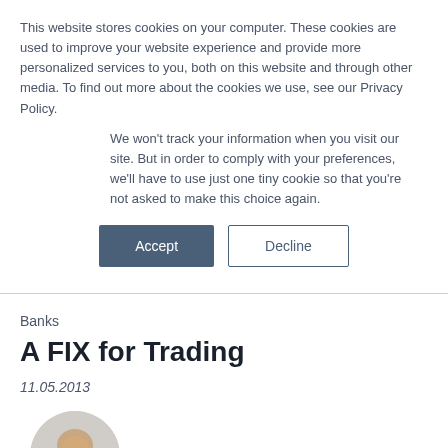This website stores cookies on your computer. These cookies are used to improve your website experience and provide more personalized services to you, both on this website and through other media. To find out more about the cookies we use, see our Privacy Policy.
We won't track your information when you visit our site. But in order to comply with your preferences, we'll have to use just one tiny cookie so that you're not asked to make this choice again.
Accept
Decline
Banks
A FIX for Trading
11.05.2013
[Figure (photo): Circular cropped portrait photo of a bald man, partially visible at bottom of page]